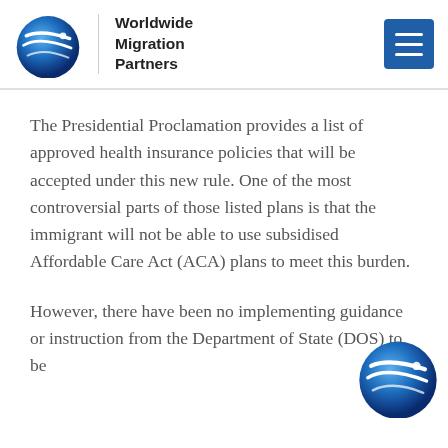Worldwide Migration Partners
The Presidential Proclamation provides a list of approved health insurance policies that will be accepted under this new rule. One of the most controversial parts of those listed plans is that the immigrant will not be able to use subsidised Affordable Care Act (ACA) plans to meet this burden.
However, there have been no implementing guidance or instruction from the Department of State (DOS) to be...